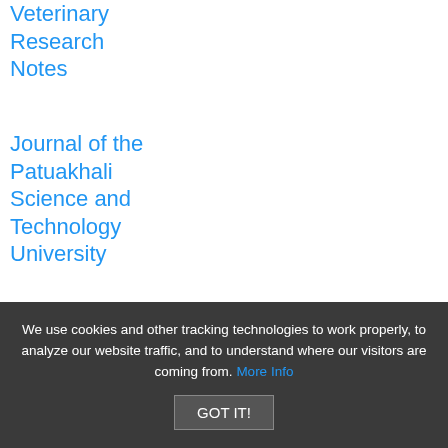Veterinary Research Notes
Journal of the Patuakhali Science and Technology University
We use cookies and other tracking technologies to work properly, to analyze our website traffic, and to understand where our visitors are coming from. More Info GOT IT!